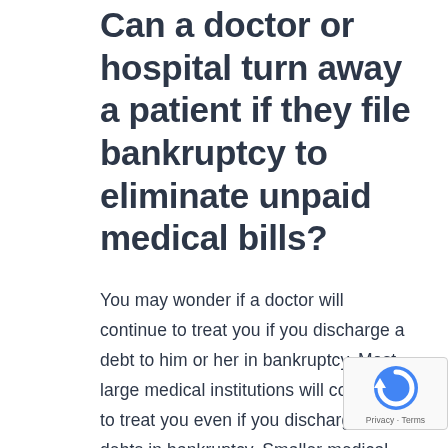Can a doctor or hospital turn away a patient if they file bankruptcy to eliminate unpaid medical bills?
You may wonder if a doctor will continue to treat you if you discharge a debt to him or her in bankruptcy. Most large medical institutions will continue to treat you even if you discharge their debts in bankruptcy. Smaller medical offices may have a problem with it, and you may want to ask. Whatever you do, do not pay a debt back to a favorite doctor within 90 days of filing a bankruptcy case in WA. Debt payments over $600 made within 90 days of filing your case, the trustee can recover that money from the creditor as an unfair...